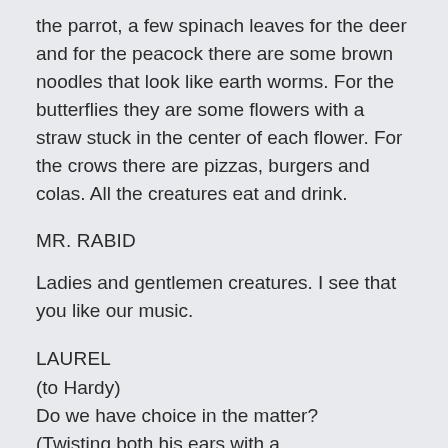the parrot, a few spinach leaves for the deer and for the peacock there are some brown noodles that look like earth worms. For the butterflies they are some flowers with a straw stuck in the center of each flower. For the crows there are pizzas, burgers and colas. All the creatures eat and drink.
MR. RABID
Ladies and gentlemen creatures. I see that you like our music.
LAUREL
(to Hardy)
Do we have choice in the matter?
(Twisting both his ears with a
painful expression)